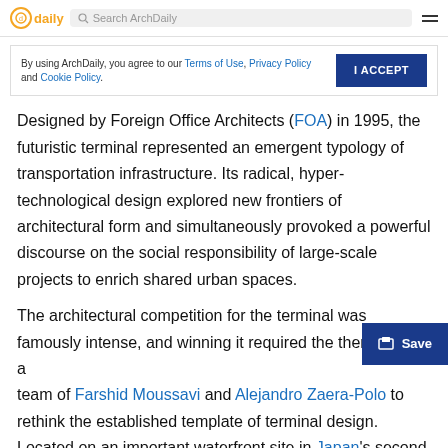ArchDaily — Search ArchDaily
By using ArchDaily, you agree to our Terms of Use, Privacy Policy and Cookie Policy.
Designed by Foreign Office Architects (FOA) in 1995, the futuristic terminal represented an emergent typology of transportation infrastructure. Its radical, hyper-technological design explored new frontiers of architectural form and simultaneously provoked a powerful discourse on the social responsibility of large-scale projects to enrich shared urban spaces.
The architectural competition for the terminal was famously intense, and winning it required the then-wife-and-husband team of Farshid Moussavi and Alejandro Zaera-Polo to rethink the established template of terminal design. Located on an important waterfront site in Japan's second most populous